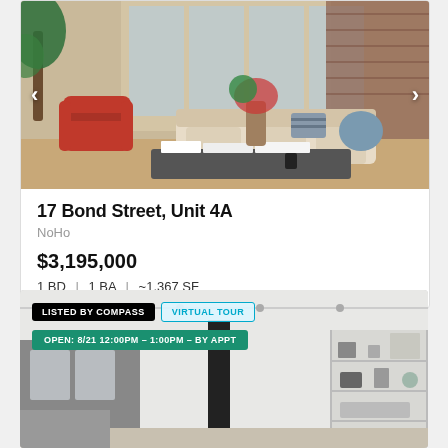[Figure (photo): Interior photo of a modern apartment living room with red armchair, beige sofa, large windows, plants, and coffee table with books]
17 Bond Street, Unit 4A
NoHo
$3,195,000
1 BD  |  1 BA  |  ~1,367 SF
[Figure (photo): Interior photo of a modern loft space with white walls, track lighting, black column, and built-in shelving, with badges: Listed by Compass, Virtual Tour, Open 8/21 12:00PM - 1:00PM - By Appt]